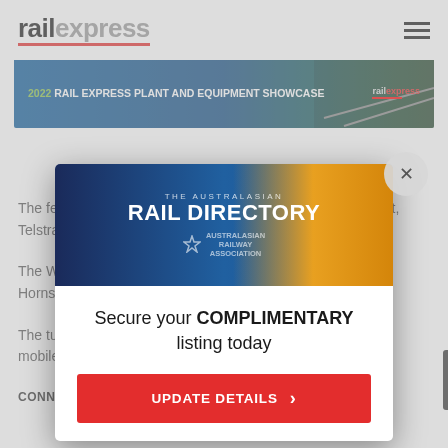railexpress
[Figure (screenshot): Rail Express 2022 Plant and Equipment Showcase banner advertisement with blue/green gradient background and rail tracks]
The federal government contributed $12 million to the project, ... Telstra S...
The Wi-... Hornsb...
The tun... mobile c...
CONNOR...
[Figure (screenshot): The Australasian Rail Directory modal popup advertisement with train image, text 'Secure your COMPLIMENTARY listing today' and UPDATE DETAILS button]